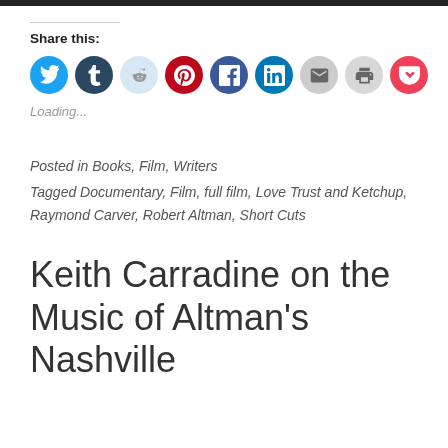[Figure (infographic): Row of social sharing icon buttons: Twitter (blue), Tumblr (dark navy), Reddit (light blue/grey), Pinterest (red), Facebook (blue), LinkedIn (blue), Email (grey), Print (grey), Pocket (red)]
Share this:
Loading...
Posted in Books, Film, Writers
Tagged Documentary, Film, full film, Love Trust and Ketchup, Raymond Carver, Robert Altman, Short Cuts
Keith Carradine on the Music of Altman's Nashville